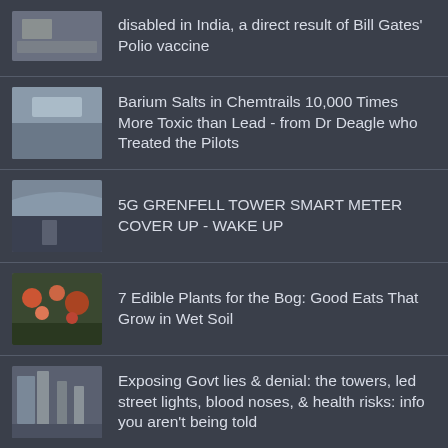disabled in India, a direct result of Bill Gates' Polio vaccine
Barium Salts in Chemtrails 10,000 Times More Toxic than Lead - from Dr Deagle who Treated the Pilots
5G GRENFELL TOWER SMART METER COVER UP - WAKE UP
7 Edible Plants for the Bog: Good Eats That Grow in Wet Soil
Exposing Govt lies & denial: the towers, led street lights, blood noses, & health risks: info you aren't being told
In NZ's frenzied quest for gun seizures a 12 YO girl is still shaken after 30 armed Police raided her family's property & pointed a gun at her